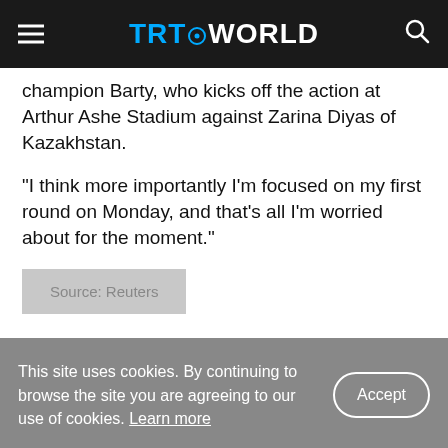TRT WORLD
champion Barty, who kicks off the action at Arthur Ashe Stadium against Zarina Diyas of Kazakhstan.
"I think more importantly I'm focused on my first round on Monday, and that's all I'm worried about for the moment."
Source: Reuters
Related News
This site uses cookies. By continuing to browse the site you are agreeing to our use of cookies. Learn more